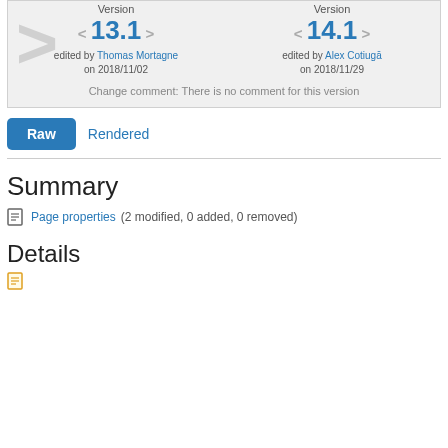[Figure (screenshot): Version comparison panel showing version 13.1 edited by Thomas Mortagne on 2018/11/02 and version 14.1 edited by Alex Cotiugā on 2018/11/29, with a large right-arrow watermark and a change comment]
Change comment: There is no comment for this version
Raw
Rendered
Summary
Page properties (2 modified, 0 added, 0 removed)
Details